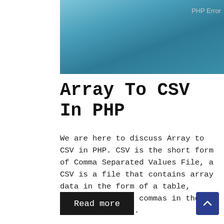[Figure (photo): Blue gradient sky/background image serving as article header thumbnail]
PHP Error
Array To CSV In PHP
We are here to discuss Array to CSV in PHP. CSV is the short form of Comma Separated Values File, a CSV is a file that contains array data in the form of a table, there will be no commas in the CSV file. The ...
Read more
[Figure (other): Scroll to top button with upward chevron arrow icon]